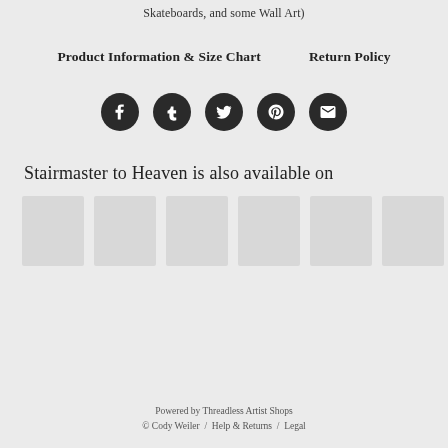Skateboards, and some Wall Art)
Product Information & Size Chart    Return Policy
[Figure (other): Row of 5 social media icon buttons (Facebook, Tumblr, Twitter, Pinterest, Email) as dark circles with white icons]
Stairmaster to Heaven is also available on
[Figure (other): Row of 6 product thumbnail placeholder images (light grey squares)]
Powered by Threadless Artist Shops
© Cody Weiler  /  Help & Returns  /  Legal